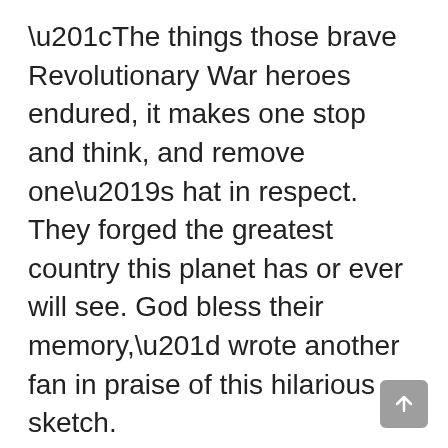“The things those brave Revolutionary War heroes endured, it makes one stop and think, and remove one’s hat in respect. They forged the greatest country this planet has or ever will see. God bless their memory,” wrote another fan in praise of this hilarious sketch.